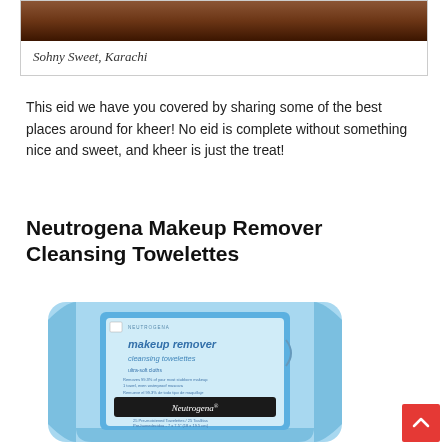[Figure (photo): Photo of Sohny Sweet, Karachi — a food item, brown toned image with a caption box]
Sohny Sweet, Karachi
This eid we have you covered by sharing some of the best places around for kheer! No eid is complete without something nice and sweet, and kheer is just the treat!
Neutrogena Makeup Remover Cleansing Towelettes
[Figure (photo): Product photo of Neutrogena Makeup Remover Cleansing Towelettes — blue packaging with label text]